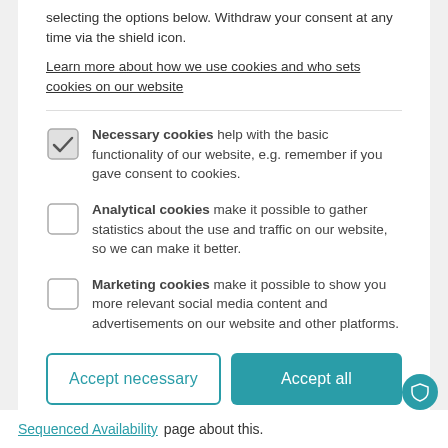selecting the options below. Withdraw your consent at any time via the shield icon.
Learn more about how we use cookies and who sets cookies on our website
Necessary cookies help with the basic functionality of our website, e.g. remember if you gave consent to cookies.
Analytical cookies make it possible to gather statistics about the use and traffic on our website, so we can make it better.
Marketing cookies make it possible to show you more relevant social media content and advertisements on our website and other platforms.
Accept necessary
Accept all
Privacy by openli
Sequenced Availability page about this.